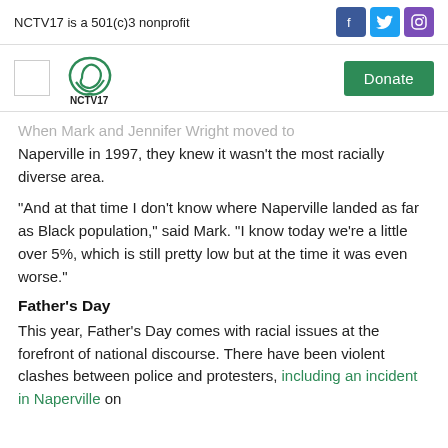NCTV17 is a 501(c)3 nonprofit
[Figure (logo): NCTV17 logo with green circular graphic and text NCTV17]
When Mark and Jennifer Wright moved to Naperville in 1997, they knew it wasn't the most racially diverse area.
“And at that time I don’t know where Naperville landed as far as Black population,” said Mark. “I know today we’re a little over 5%, which is still pretty low but at the time it was even worse.”
Father’s Day
This year, Father’s Day comes with racial issues at the forefront of national discourse. There have been violent clashes between police and protesters, including an incident in Naperville on